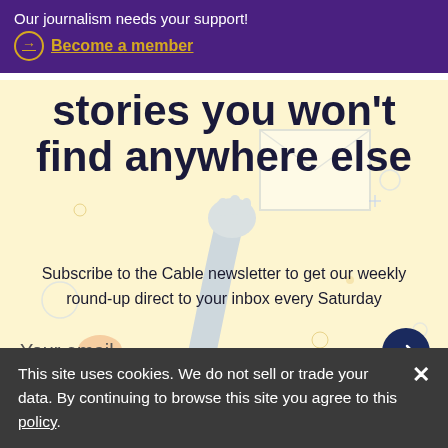Our journalism needs your support!
Become a member
stories you won't find anywhere else
Subscribe to the Cable newsletter to get our weekly round-up direct to your inbox every Saturday
Your email
This site uses cookies. We do not sell or trade your data. By continuing to browse this site you agree to this policy.